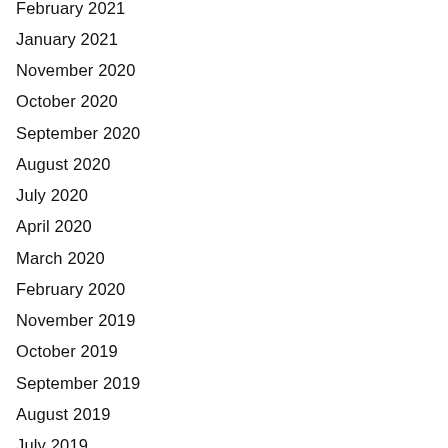February 2021
January 2021
November 2020
October 2020
September 2020
August 2020
July 2020
April 2020
March 2020
February 2020
November 2019
October 2019
September 2019
August 2019
July 2019